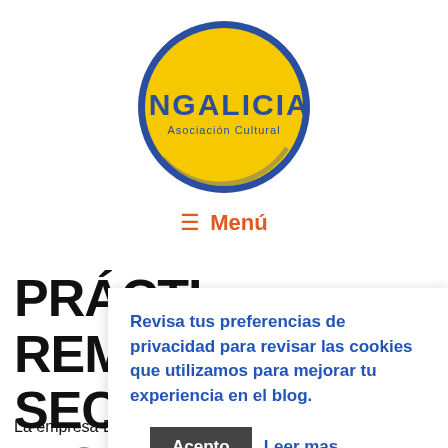[Figure (logo): INGALICIA Asociación Cultural circular logo — yellow circle with dark blue border, bold dark blue text INGALICIA and smaller text Asociación Cultural]
≡ Menú
PRÁCTICAS REMUNERADAS SECTOR BIOTEC…
Revisa tus preferencias de privacidad para revisar las cookies que utilizamos para mejorar tu experiencia en el blog.
Acepto  Leer mas
La empresa Europabio, especialista en el sector de las